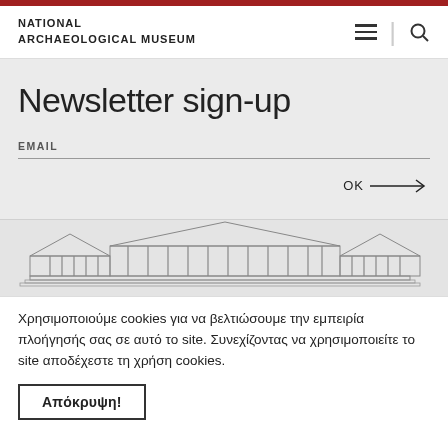NATIONAL ARCHAEOLOGICAL MUSEUM
Newsletter sign-up
EMAIL
OK →
[Figure (illustration): Line drawing illustration of the National Archaeological Museum building facade]
Χρησιμοποιούμε cookies για να βελτιώσουμε την εμπειρία πλοήγησής σας σε αυτό το site. Συνεχίζοντας να χρησιμοποιείτε το site αποδέχεστε τη χρήση cookies.
Απόκρυψη!